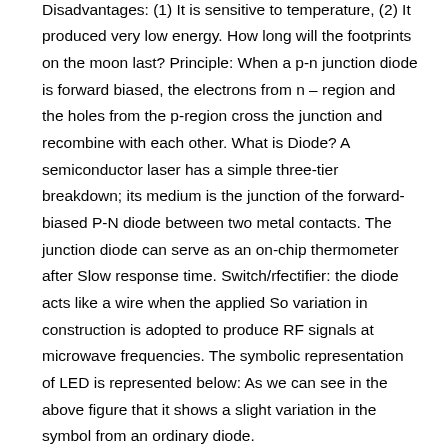year 1927 but not a new invention. Advantages: 1. Disadvantages: (1) It is sensitive to temperature, (2) It produced very low energy. How long will the footprints on the moon last? Principle: When a p-n junction diode is forward biased, the electrons from n – region and the holes from the p-region cross the junction and recombine with each other. What is Diode? A semiconductor laser has a simple three-tier breakdown; its medium is the junction of the forward-biased P-N diode between two metal contacts. The junction diode can serve as an on-chip thermometer after Slow response time. Switch/rfectifier: the diode acts like a wire when the applied So variation in construction is adopted to produce RF signals at microwave frequencies. The symbolic representation of LED is represented below: As we can see in the above figure that it shows a slight variation in the symbol from an ordinary diode.